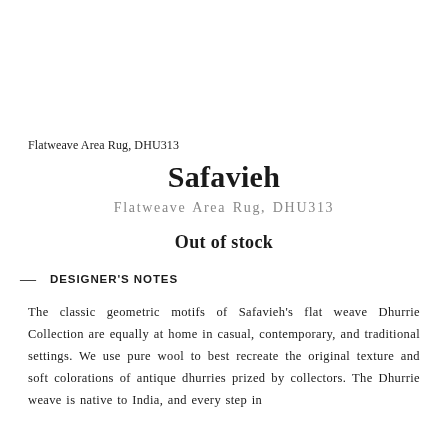Flatweave Area Rug, DHU313
Safavieh
Flatweave Area Rug, DHU313
Out of stock
DESIGNER'S NOTES
The classic geometric motifs of Safavieh's flat weave Dhurrie Collection are equally at home in casual, contemporary, and traditional settings. We use pure wool to best recreate the original texture and soft colorations of antique dhurries prized by collectors. The Dhurrie weave is native to India, and every step in